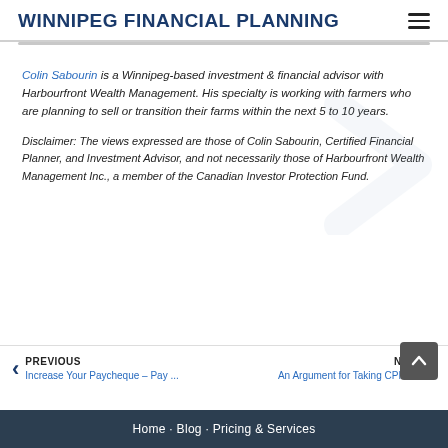WINNIPEG FINANCIAL PLANNING
Colin Sabourin is a Winnipeg-based investment & financial advisor with Harbourfront Wealth Management. His specialty is working with farmers who are planning to sell or transition their farms within the next 5 to 10 years.
Disclaimer: The views expressed are those of Colin Sabourin, Certified Financial Planner, and Investment Advisor, and not necessarily those of Harbourfront Wealth Management Inc., a member of the Canadian Investor Protection Fund.
PREVIOUS
Increase Your Paycheque – Pay ...
NEXT
An Argument for Taking CPP E...
Home · Blog · Pricing & Services